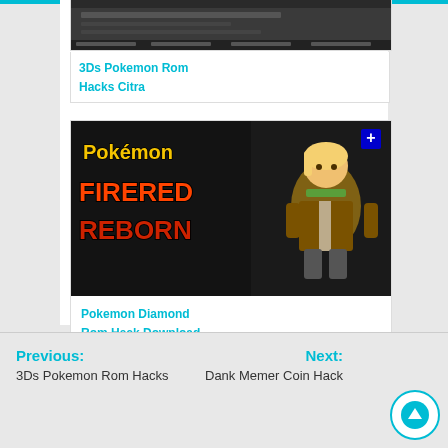[Figure (screenshot): Screenshot thumbnail of a 3DS Pokemon game]
3Ds Pokemon Rom Hacks Citra
[Figure (illustration): Pokemon FireRed Reborn game cover art showing a character and the game title logo]
Pokemon Diamond Rom Hack Download
Previous:
3Ds Pokemon Rom Hacks
Next:
Dank Memer Coin Hack